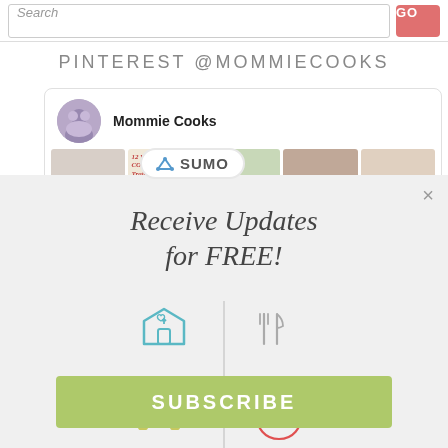Search
PINTEREST @MOMMIECOOKS
[Figure (screenshot): Pinterest profile card for Mommie Cooks showing avatar, name, and pin image thumbnails with a Sumo overlay badge]
Receive Updates for FREE!
[Figure (infographic): Four icons arranged in a 2x2 grid with dividing lines: house with heart (teal), fork and knife (gray), dumbbell (olive/yellow-green), apple (red)]
SUBSCRIBE